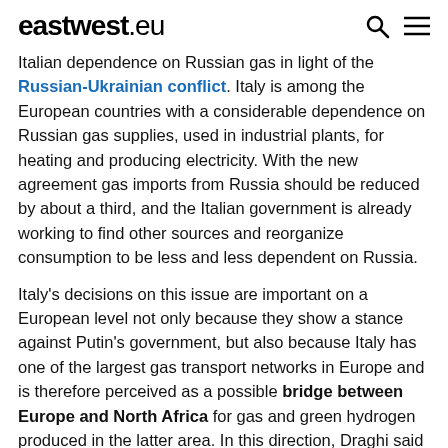eastwest.eu
Italian dependence on Russian gas in light of the Russian-Ukrainian conflict. Italy is among the European countries with a considerable dependence on Russian gas supplies, used in industrial plants, for heating and producing electricity. With the new agreement gas imports from Russia should be reduced by about a third, and the Italian government is already working to find other sources and reorganize consumption to be less and less dependent on Russia.
Italy's decisions on this issue are important on a European level not only because they show a stance against Putin's government, but also because Italy has one of the largest gas transport networks in Europe and is therefore perceived as a possible bridge between Europe and North Africa for gas and green hydrogen produced in the latter area. In this direction, Draghi said that Italy is also ready to work with Algeria to develop renewable energy and green hydrogen.